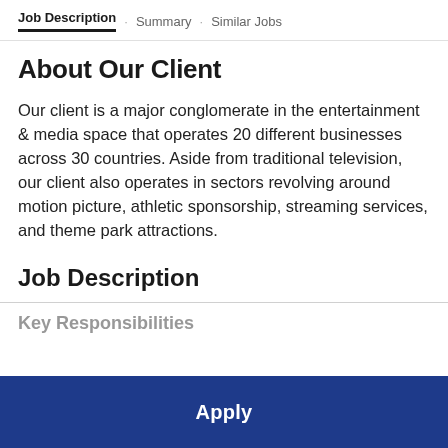Job Description · Summary · Similar Jobs
About Our Client
Our client is a major conglomerate in the entertainment & media space that operates 20 different businesses across 30 countries. Aside from traditional television, our client also operates in sectors revolving around motion picture, athletic sponsorship, streaming services, and theme park attractions.
Job Description
Key Responsibilities
Apply